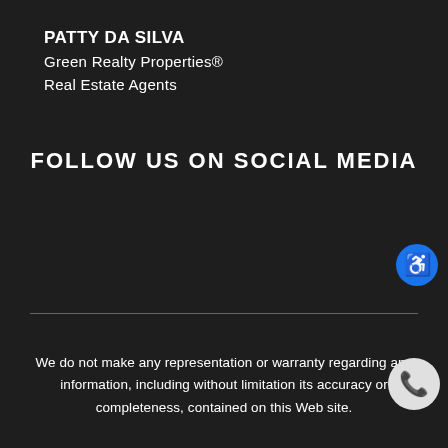PATTY DA SILVA
Green Realty Properties®
Real Estate Agents
FOLLOW US ON SOCIAL MEDIA
[Figure (illustration): Blue circle accessibility icon with white person/wheelchair symbol, positioned top-right]
[Figure (illustration): White circle phone icon with dark phone handset, positioned bottom-right]
We do not make any representation or warranty regarding any information, including without limitation its accuracy or completeness, contained on this Web site.